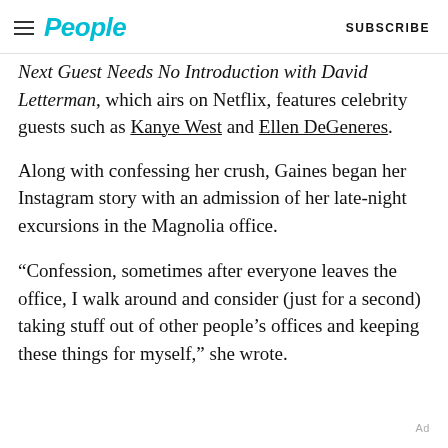People  SUBSCRIBE
Next Guest Needs No Introduction with David Letterman, which airs on Netflix, features celebrity guests such as Kanye West and Ellen DeGeneres.
Along with confessing her crush, Gaines began her Instagram story with an admission of her late-night excursions in the Magnolia office.
“Confession, sometimes after everyone leaves the office, I walk around and consider (just for a second) taking stuff out of other people’s offices and keeping these things for myself,” she wrote.
Ad